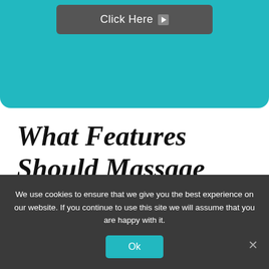[Figure (other): Teal banner background at top of page with a dark grey button labeled 'Click Here' with an arrow icon]
What Features Should Massage Table Sheets Have?
I learned to look for specific
We use cookies to ensure that we give you the best experience on our website. If you continue to use this site we will assume that you are happy with it.
Ok